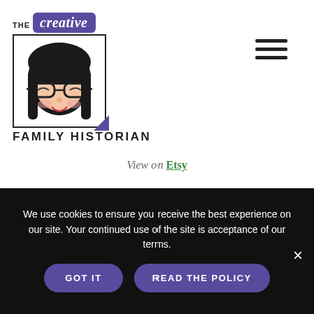[Figure (logo): The Creative Family Historian logo: purple badge with 'the creative' text, illustration of a dark-haired girl with glasses in a square frame, text 'FAMILY HISTORIAN' below]
View on Etsy
These are a fun way to share your family history when you have a lot of photos. These make a great souvenir for Family Reunions as it's an easy way to share a photo,
We use cookies to ensure you receive the best experience on our site. Your continued use of the site is acceptance of our terms.
GOT IT   READ THE POLICY